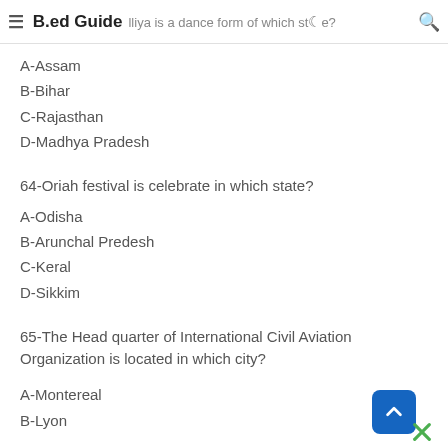B.ed Guide — Halliya is a dance form of which state?
A-Assam
B-Bihar
C-Rajasthan
D-Madhya Pradesh
64-Oriah festival is celebrate in which state?
A-Odisha
B-Arunchal Predesh
C-Keral
D-Sikkim
65-The Head quarter of International Civil Aviation Organization is located in which city?
A-Montereal
B-Lyon